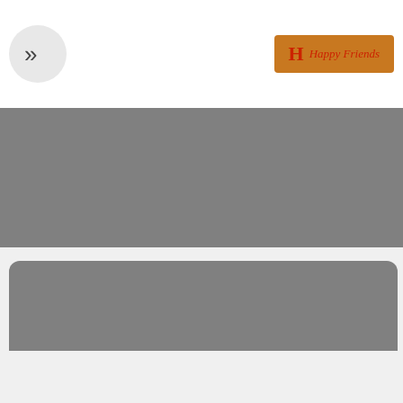[Figure (logo): Navigation chevron button (>>) on left, and a golden-brown badge logo with red H and cursive red text 'Happy Friends' on the right]
[Figure (other): Gray rectangular banner area]
Good woman seeking bad guy if ready to lick clit